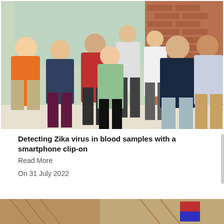[Figure (photo): Group photo of approximately 8 researchers standing together indoors in front of a brick wall with large windows behind them. They are smiling at the camera. One person is holding a device (possibly a smartphone attachment). They appear to be in a university or laboratory building.]
Detecting Zika virus in blood samples with a smartphone clip-on
Read More
On 31 July 2022
[Figure (photo): Partial view of another image at the bottom of the page, partially cut off.]